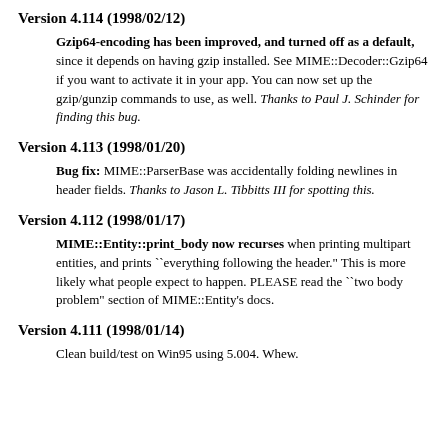Version 4.114 (1998/02/12)
Gzip64-encoding has been improved, and turned off as a default, since it depends on having gzip installed. See MIME::Decoder::Gzip64 if you want to activate it in your app. You can now set up the gzip/gunzip commands to use, as well. Thanks to Paul J. Schinder for finding this bug.
Version 4.113 (1998/01/20)
Bug fix: MIME::ParserBase was accidentally folding newlines in header fields. Thanks to Jason L. Tibbitts III for spotting this.
Version 4.112 (1998/01/17)
MIME::Entity::print_body now recurses when printing multipart entities, and prints ``everything following the header." This is more likely what people expect to happen. PLEASE read the ``two body problem" section of MIME::Entity's docs.
Version 4.111 (1998/01/14)
Clean build/test on Win95 using 5.004. Whew.